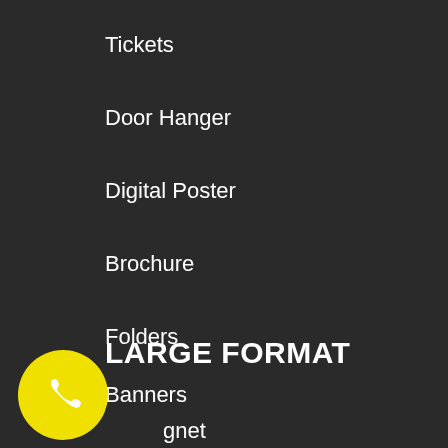Tickets
Door Hanger
Digital Poster
Brochure
Folders
LARGE FORMAT
Banners
gnet
am Boards